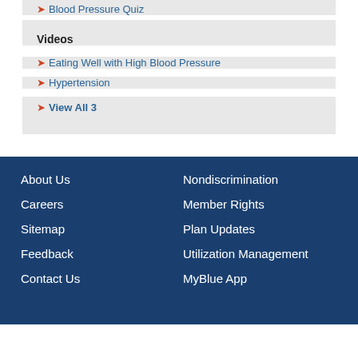Blood Pressure Quiz
Videos
Eating Well with High Blood Pressure
Hypertension
View All 3
About Us | Nondiscrimination | Careers | Member Rights | Sitemap | Plan Updates | Feedback | Utilization Management | Contact Us | MyBlue App